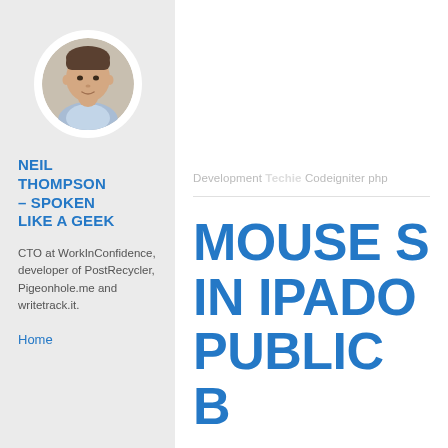[Figure (photo): Circular cropped headshot of Neil Thompson, a man in a light blue shirt]
NEIL THOMPSON – SPOKEN LIKE A GEEK
CTO at WorkInConfidence, developer of PostRecycler, Pigeonhole.me and writetrack.it.
Home
Development Techie Codeigniter php
MOUSE S IN IPADO PUBLIC B